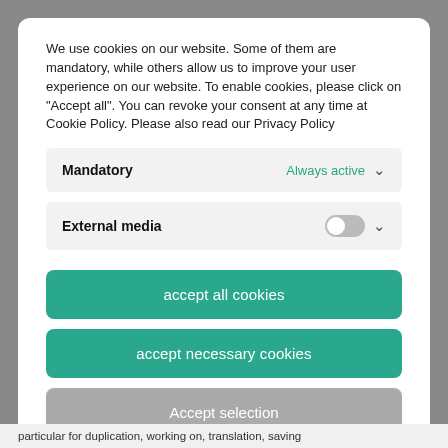We use cookies on our website. Some of them are mandatory, while others allow us to improve your user experience on our website. To enable cookies, please click on "Accept all". You can revoke your consent at any time at Cookie Policy. Please also read our Privacy Policy
Mandatory — Always active
External media
accept all cookies
accept necessary cookies
Accept selection
Cookie Policy  Privacy Policy  Privacy Policy
particular for duplication, working on, translation, saving